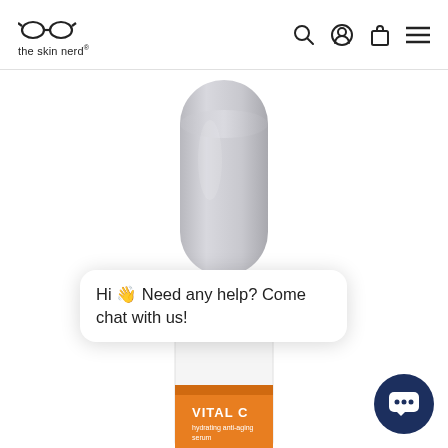the skin nerd®
[Figure (photo): Product photo of a serum bottle with grey cap and white body, labeled VITAL C hydrating anti-aging serum with orange label at bottom, partially visible on white background]
Hi 👋 Need any help? Come chat with us!